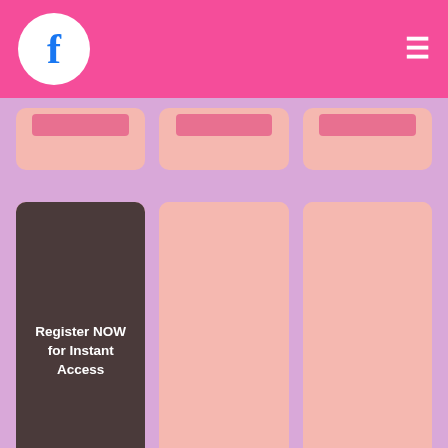Facebook logo and hamburger menu on pink header
[Figure (screenshot): Three profile cards in two rows. Top row shows three partially visible pink cards with pink buttons. Bottom row shows three cards: first card has dark brownish-grey image area with text 'Register NOW for Instant Access', followed by pink area and red 'Open profile' button; second and third cards have pink image areas and red 'Open profile' buttons.]
This Club used to be my Synn gentlemen club industry Des Moines, as it has been Synn gentlemen club industry Des Moines many another monger for many years. Had a